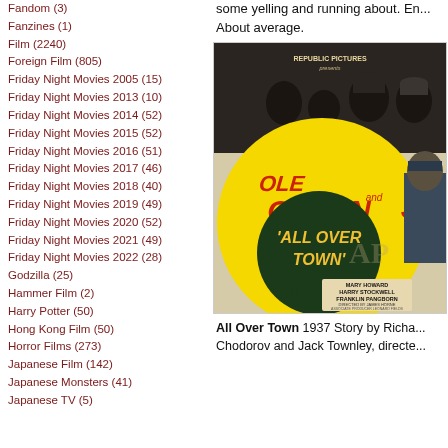Fandom (3)
Fanzines (1)
Film (2240)
Foreign Film (805)
Friday Night Movies 2005 (15)
Friday Night Movies 2013 (10)
Friday Night Movies 2014 (52)
Friday Night Movies 2015 (52)
Friday Night Movies 2016 (51)
Friday Night Movies 2017 (46)
Friday Night Movies 2018 (40)
Friday Night Movies 2019 (49)
Friday Night Movies 2020 (52)
Friday Night Movies 2021 (49)
Friday Night Movies 2022 (28)
Godzilla (25)
Hammer Film (2)
Harry Potter (50)
Hong Kong Film (50)
Horror Films (273)
Japanese Film (142)
Japanese Monsters (41)
Japanese TV (5)
some yelling and running about. En... About average.
[Figure (photo): Movie poster for 'All Over Town' (1937) featuring Ole Olsen. Republic Pictures. Stars Mary Howard, Harry Stockwell, Franklin Pangborn. Directed by James Horne.]
All Over Town 1937 Story by Richa... Chodorov and Jack Townley, directe...